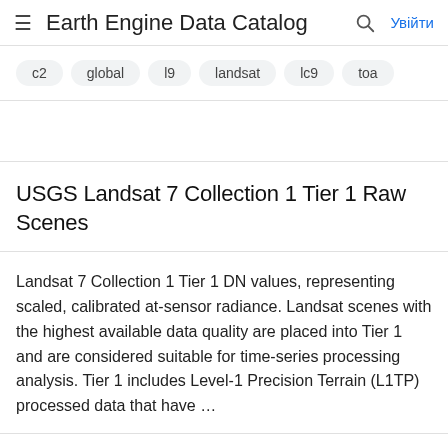Earth Engine Data Catalog   Увійти
c2
global
l9
landsat
lc9
toa
USGS Landsat 7 Collection 1 Tier 1 Raw Scenes
Landsat 7 Collection 1 Tier 1 DN values, representing scaled, calibrated at-sensor radiance. Landsat scenes with the highest available data quality are placed into Tier 1 and are considered suitable for time-series processing analysis. Tier 1 includes Level-1 Precision Terrain (L1TP) processed data that have …